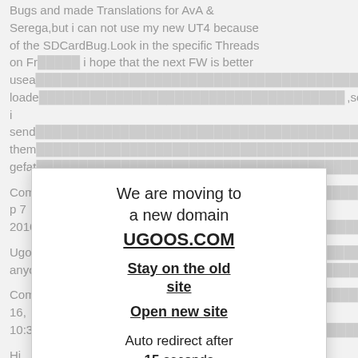Bugs and made Translations for AvA & Serega,but i can not use my new UT4 because of the SDCardBug.Look in the specific Threads on Fr... i hope that the next FW is better usea... loade... ,so i send... them... gefat...
Com... p 7 2016,
Ugoo... anyo...
Com... 16, 10:30
Hi all n my c sync probl tflix, please try these settings: - screen resolution: 1920x1080p-24 - autoframerate: video resolution priority This resolved the sync issues for me.
Comment by Emile Morsbach | Sunday, Aug 14, 2016, 02:26AM
[Figure (other): Modal overlay popup with domain migration notice: 'We are moving to a new domain UGOOS.COM', with links 'Stay on the old site' and 'Open new site', and auto redirect countdown: 'Auto redirect after 15 seconds']